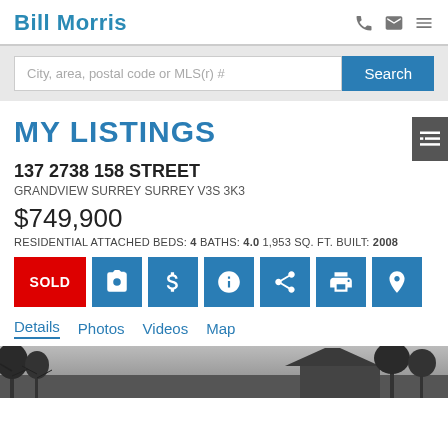Bill Morris
[Figure (screenshot): Search bar with placeholder text 'City, area, postal code or MLS(r) #' and a blue Search button]
MY LISTINGS
137 2738 158 STREET
GRANDVIEW SURREY SURREY V3S 3K3
$749,900
RESIDENTIAL ATTACHED BEDS: 4 BATHS: 4.0 1,953 SQ. FT. BUILT: 2008
[Figure (infographic): Action buttons row: SOLD (red), camera icon, dollar icon, info icon, share icon, print icon, map pin icon (all in blue)]
Details  Photos  Videos  Map
[Figure (photo): Partial photo of a house exterior with trees in foreground]